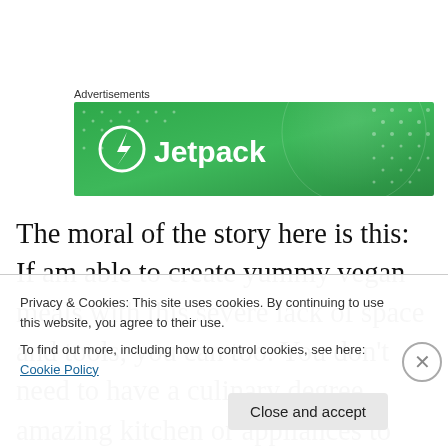Advertisements
[Figure (logo): Jetpack advertisement banner — green background with globe graphic, white Jetpack logo icon (lightning bolt in circle) and 'Jetpack' brand name in white text]
The moral of the story here is this: If am able to create yummy vegan meals with this severe lack of space and tools, you can too. You don't need to have a culinary degree, amazing kitchen or appliances to create meals for you and your family that not only taste great but are good
Privacy & Cookies: This site uses cookies. By continuing to use this website, you agree to their use.
To find out more, including how to control cookies, see here: Cookie Policy